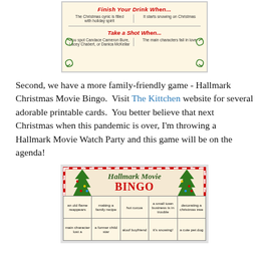[Figure (photo): Christmas drinking game card with 'Finish Your Drink When...' and 'Take a Shot When...' sections with decorative swirls]
Second, we have a more family-friendly game - Hallmark Christmas Movie Bingo.  Visit The Kittchen website for several adorable printable cards.  You better believe that next Christmas when this pandemic is over, I'm throwing a Hallmark Movie Watch Party and this game will be on the agenda!
[Figure (photo): Hallmark Movie BINGO card with candy cane border, Christmas trees, and bingo grid with holiday movie phrases]